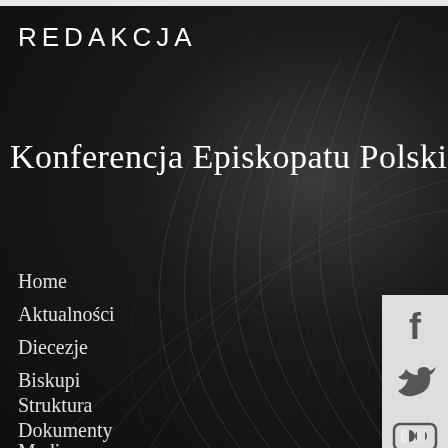REDAKCJA
Konferencja Episkopatu Polski
Home
Aktualności
Diecezje
Biskupi
Struktura
Dokumenty
Media
[Figure (infographic): Social media icons sidebar: Facebook, Twitter, Flickr, YouTube]